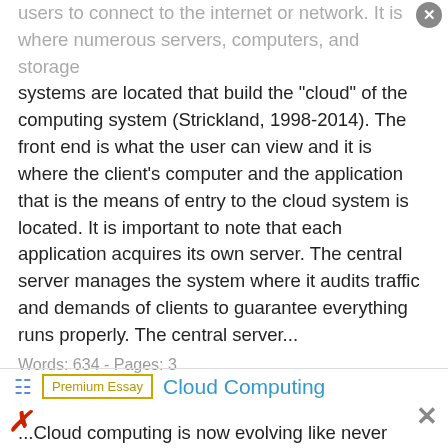users to connect to the internet or network. It is where numerous servers, computers, and storage systems are located that build the "cloud" of the computing system (Strickland, 1998-2014). The front end is what the user can view and it is where the client's computer and the application that is the means of entry to the cloud system is located. It is important to note that each application acquires its own server. The central server manages the system where it audits traffic and demands of clients to guarantee everything runs properly. The central server...
Words: 634 - Pages: 3
Cloud Computing
...Cloud computing is now evolving like never before, with companies of all shapes and sizes adapting to